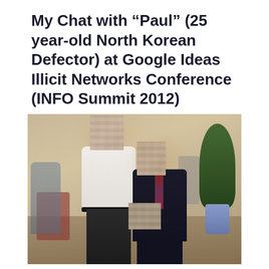My Chat with “Paul” (25 year-old North Korean Defector) at Google Ideas Illicit Networks Conference (INFO Summit 2012)
[Figure (photo): Two men posing together in what appears to be an upscale dining room or conference venue. Both men have their faces pixelated/blurred for privacy. The taller man on the left wears a white button-up shirt and dark trousers. The shorter man on the right wears a dark suit with a striped tie. Background shows other attendees seated at tables, ornate decor, and a large potted plant on the right.]